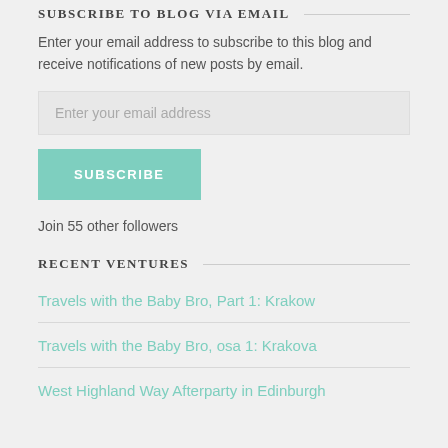SUBSCRIBE TO BLOG VIA EMAIL
Enter your email address to subscribe to this blog and receive notifications of new posts by email.
Enter your email address
SUBSCRIBE
Join 55 other followers
RECENT VENTURES
Travels with the Baby Bro, Part 1: Krakow
Travels with the Baby Bro, osa 1: Krakova
West Highland Way Afterparty in Edinburgh